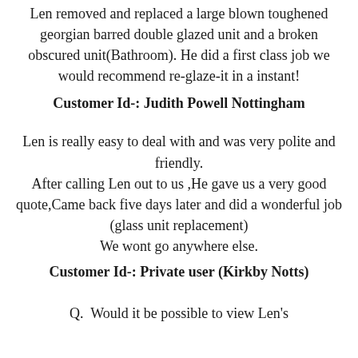Len removed and replaced a large blown toughened georgian barred double glazed unit and a broken obscured unit(Bathroom). He did a first class job we would recommend re-glaze-it in a instant!
Customer Id-: Judith Powell Nottingham
Len is really easy to deal with and was very polite and friendly. After calling Len out to us ,He gave us a very good quote,Came back five days later and did a wonderful job (glass unit replacement) We wont go anywhere else.
Customer Id-: Private user (Kirkby Notts)
Q.  Would it be possible to view Len's